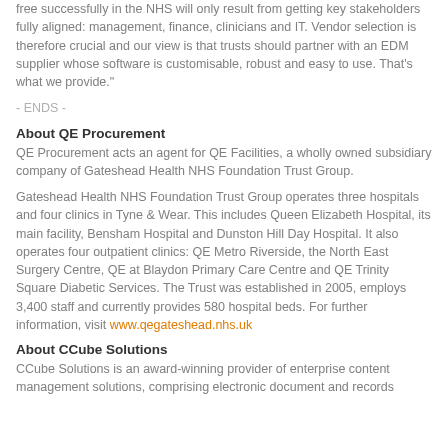free successfully in the NHS will only result from getting key stakeholders fully aligned: management, finance, clinicians and IT. Vendor selection is therefore crucial and our view is that trusts should partner with an EDM supplier whose software is customisable, robust and easy to use. That's what we provide."
- ENDS -
About QE Procurement
QE Procurement acts an agent for QE Facilities, a wholly owned subsidiary company of Gateshead Health NHS Foundation Trust Group.
Gateshead Health NHS Foundation Trust Group operates three hospitals and four clinics in Tyne & Wear. This includes Queen Elizabeth Hospital, its main facility, Bensham Hospital and Dunston Hill Day Hospital. It also operates four outpatient clinics: QE Metro Riverside, the North East Surgery Centre, QE at Blaydon Primary Care Centre and QE Trinity Square Diabetic Services. The Trust was established in 2005, employs 3,400 staff and currently provides 580 hospital beds. For further information, visit www.qegateshead.nhs.uk
About CCube Solutions
CCube Solutions is an award-winning provider of enterprise content management solutions, comprising electronic document and records